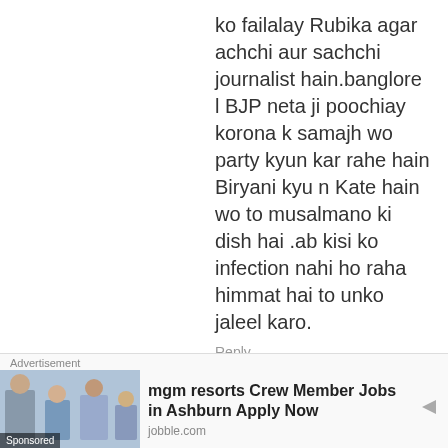ko failalay Rubika agar achchi aur sachchi journalist hain.banglore l BJP neta ji poochiay korona k samajh wo party kyun kar rahe hain Biryani kyu n Kate hain wo to musalmano ki dish hai .ab kisi ko infection nahi ho raha himmat hai to unko jaleel karo.
Reply
Arun Bhattacharya
Rubik's ji,. I am your fan and watch your news in ABP News. I like your style in news delivering and also in the programme where you discuss in group visitors in
[Figure (illustration): Cartoon mosquito avatar image]
Advertisement
[Figure (photo): Advertisement photo showing people in office/business setting with Sponsored label]
mgm resorts Crew Member Jobs in Ashburn Apply Now
jobble.com